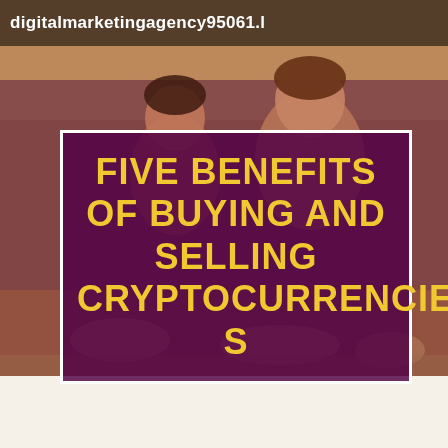digitalmarketingagency95061.l
[Figure (photo): Background photo of people (women) sitting at a table in a meeting/office setting, smiling and laughing, with a warm color overlay.]
FIVE BENEFITS OF BUYING AND SELLING CRYPTOCURRENCIES